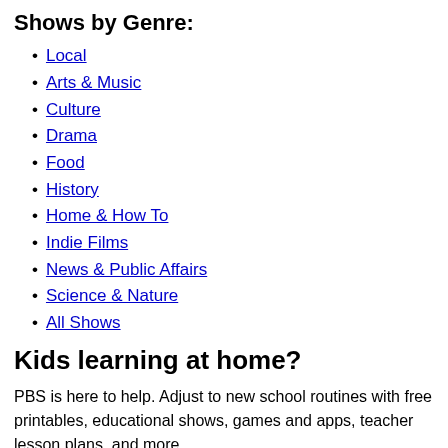Shows by Genre:
Local
Arts & Music
Culture
Drama
Food
History
Home & How To
Indie Films
News & Public Affairs
Science & Nature
All Shows
Kids learning at home?
PBS is here to help. Adjust to new school routines with free printables, educational shows, games and apps, teacher lesson plans, and more.
Resources for Parents